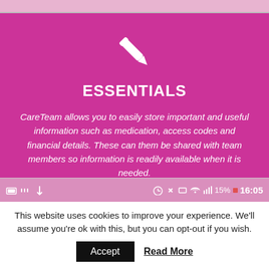[Figure (screenshot): Screenshot of CareTeam app showing pink/magenta background with pencil icon, ESSENTIALS heading, descriptive text, and a phone status bar at the bottom showing 15% battery and 16:05 time.]
ESSENTIALS
CareTeam allows you to easily store important and useful information such as medication, access codes and financial details. These can them be shared with team members so information is readily available when it is needed.
This website uses cookies to improve your experience. We'll assume you're ok with this, but you can opt-out if you wish.
Accept   Read More